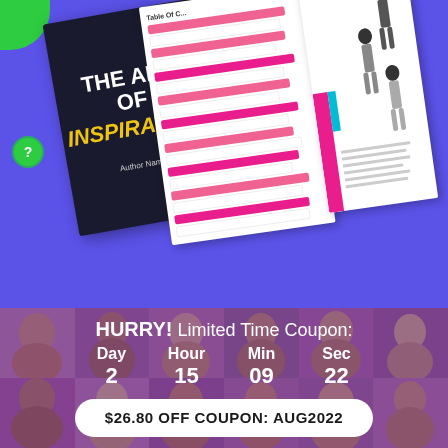[Figure (illustration): Book covers displayed on a purple/blue background. Front cover shows 'THE ART OF INSPIRATION' with author name, alongside open book pages showing a table of contents with pink/magenta striped rows and a fashion/lifestyle page with silhouette figures.]
HURRY! Limited Time Coupon:
Day 2  Hour 15  Min 09  Sec 22
$26.80 OFF COUPON: AUG2022